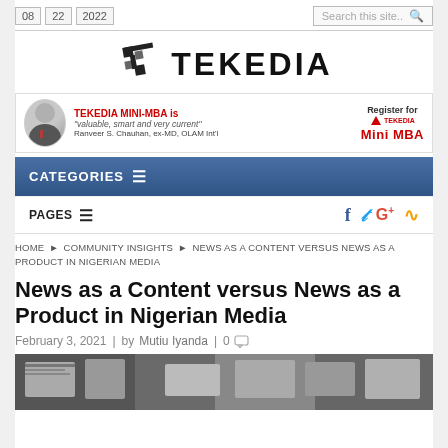08  22  2022  |  Search this site..
[Figure (logo): TEKEDIA logo with geometric T icon and bold wordmark]
[Figure (infographic): TEKEDIA MINI-MBA banner with photo of Ranveer S. Chauhan, ex-MD, OLAM Int'l quote 'valuable, smart and very current', and Register for Mini MBA call to action]
CATEGORIES
PAGES
HOME ▶ COMMUNITY INSIGHTS ▶ NEWS AS A CONTENT VERSUS NEWS AS A PRODUCT IN NIGERIAN MEDIA
News as a Content versus News as a Product in Nigerian Media
February 3, 2021  |  by Mutiu Iyanda  |  0
[Figure (photo): Photo of newspaper stand with magazines and newspapers]